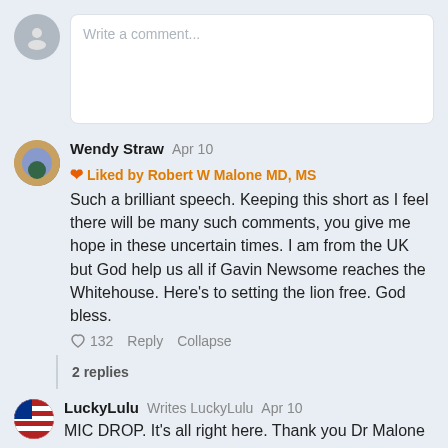Write a comment...
Wendy Straw  Apr 10  ❤ Liked by Robert W Malone MD, MS
Such a brilliant speech. Keeping this short as I feel there will be many such comments, you give me hope in these uncertain times. I am from the UK but God help us all if Gavin Newsome reaches the Whitehouse. Here's to setting the lion free. God bless.
132  Reply  Collapse
2 replies
LuckyLulu  Writes LuckyLulu  Apr 10
MIC DROP. It's all right here. Thank you Dr Malone